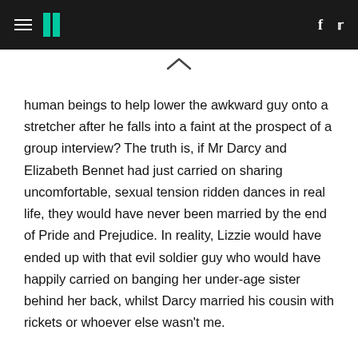HuffPost navigation header with hamburger menu, logo, Facebook and Twitter icons
[Figure (other): Chevron/caret up symbol (^) used as a scroll indicator]
human beings to help lower the awkward guy onto a stretcher after he falls into a faint at the prospect of a group interview? The truth is, if Mr Darcy and Elizabeth Bennet had just carried on sharing uncomfortable, sexual tension ridden dances in real life, they would have never been married by the end of Pride and Prejudice. In reality, Lizzie would have ended up with that evil soldier guy who would have happily carried on banging her under-age sister behind her back, whilst Darcy married his cousin with rickets or whoever else wasn't me.